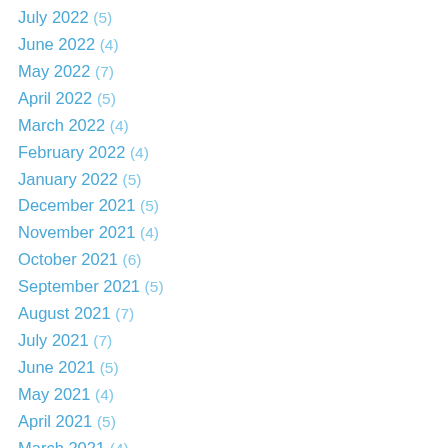July 2022 (5)
June 2022 (4)
May 2022 (7)
April 2022 (5)
March 2022 (4)
February 2022 (4)
January 2022 (5)
December 2021 (5)
November 2021 (4)
October 2021 (6)
September 2021 (5)
August 2021 (7)
July 2021 (7)
June 2021 (5)
May 2021 (4)
April 2021 (5)
March 2021 (4)
February 2021 (4)
January 2021 (6)
December 2020 (4)